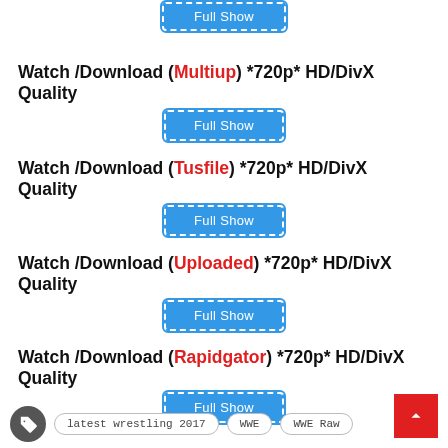[Figure (other): Full Show button (blue, dashed white border) - partial at top]
Watch /Download (Multiup) *720p* HD/DivX Quality
[Figure (other): Full Show button (blue, dashed white border)]
Watch /Download (Tusfile) *720p* HD/DivX Quality
[Figure (other): Full Show button (blue, dashed white border)]
Watch /Download (Uploaded) *720p* HD/DivX Quality
[Figure (other): Full Show button (blue, dashed white border)]
Watch /Download (Rapidgator) *720p* HD/DivX Quality
[Figure (other): Full Show button (blue, dashed white border)]
latest wrestling 2017
WWE
WWE Raw